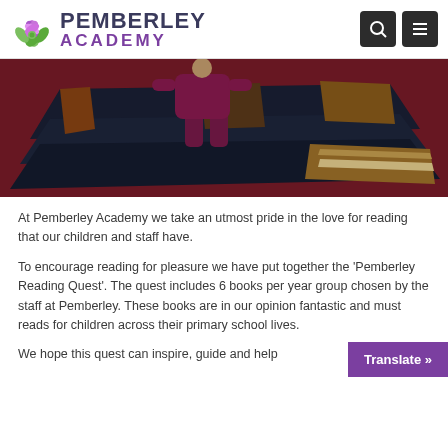PEMBERLEY ACADEMY
[Figure (illustration): Comic-style illustration of a child standing on a large stack of books, viewed from behind, wearing purple/maroon clothing. Dark background with bold colors.]
At Pemberley Academy we take an utmost pride in the love for reading that our children and staff have.
To encourage reading for pleasure we have put together the 'Pemberley Reading Quest'. The quest includes 6 books per year group chosen by the staff at Pemberley. These books are in our opinion fantastic and must reads for children across their primary school lives.
We hope this quest can inspire, guide and help